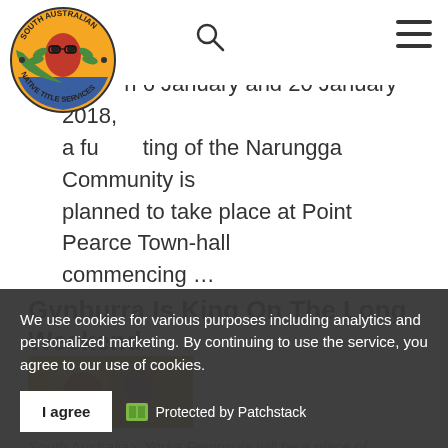South Australian Native Title Services — navigation header with logo, search icon, and hamburger menu
M… on 6 January and 20 January 2018, a fu… ting of the Narungga Community is planned to take place at Point Pearce Town-hall commencing …
Gynburra Is King On The Long Weekend
[Figure (photo): Partial article thumbnail image (colorful, partially obscured by cookie banner)]
We use cookies for various purposes including analytics and personalized marketing. By continuing to use the service, you agree to our use of cookies.
I agree   🟩 Protected by Patchstack
South Australia's Yorke Peninsula will be a place of celebration of Narungga culture this January long weekend, with Gynburra 2018. It's a festival that